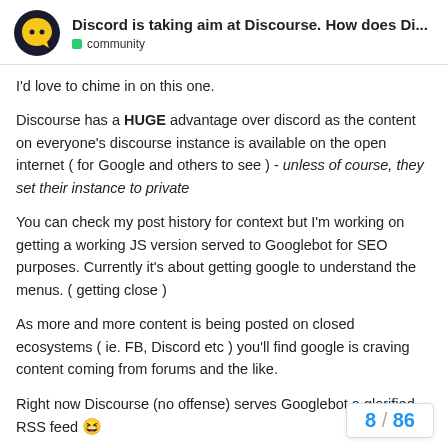Discord is taking aim at Discourse. How does Di... | community
I'd love to chime in on this one.
Discourse has a HUGE advantage over discord as the content on everyone's discourse instance is available on the open internet ( for Google and others to see ) - unless of course, they set their instance to private
You can check my post history for context but I'm working on getting a working JS version served to Googlebot for SEO purposes. Currently it's about getting google to understand the menus. ( getting close )
As more and more content is being posted on closed ecosystems ( ie. FB, Discord etc ) you'll find google is craving content coming from forums and the like.
Right now Discourse (no offense) serves Googlebot a glorified RSS feed 😆
I'm convinced there is an SEO issue with D
8 / 86